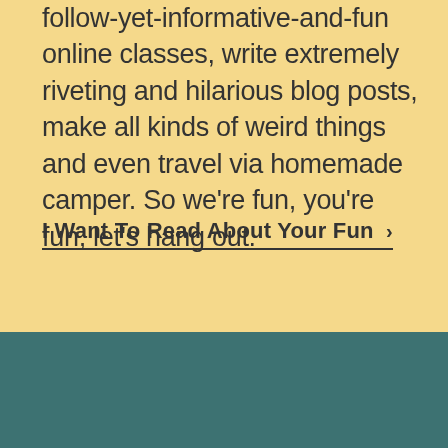follow-yet-informative-and-fun online classes, write extremely riveting and hilarious blog posts, make all kinds of weird things and even travel via homemade camper. So we're fun, you're fun, let's hang out.
I Want To Read About Your Fun ›